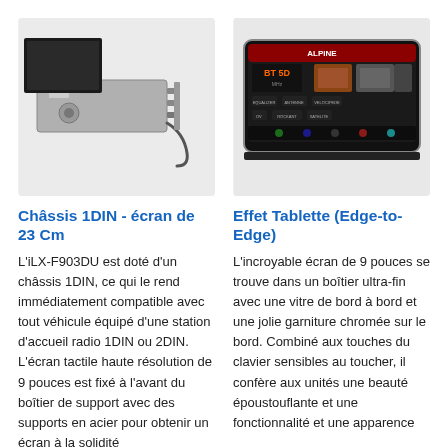[Figure (photo): Car stereo unit with 1DIN chassis shown from rear/side angle with screen visible, on light gray background]
[Figure (photo): Alpine car stereo with large 9-inch touchscreen showing colorful interface with media options, on dark background]
Châssis 1DIN - écran de 23 Cm
Effet Tablette (Edge-to-Edge)
L'iLX-F903DU est doté d'un châssis 1DIN, ce qui le rend immédiatement compatible avec tout véhicule équipé d'une station d'accueil radio 1DIN ou 2DIN. L'écran tactile haute résolution de 9 pouces est fixé à l'avant du boîtier de support avec des supports en acier pour obtenir un écran à la solidité
L'incroyable écran de 9 pouces se trouve dans un boîtier ultra-fin avec une vitre de bord à bord et une jolie garniture chromée sur le bord. Combiné aux touches du clavier sensibles au toucher, il confère aux unités une beauté époustouflante et une fonctionnalité et une apparence